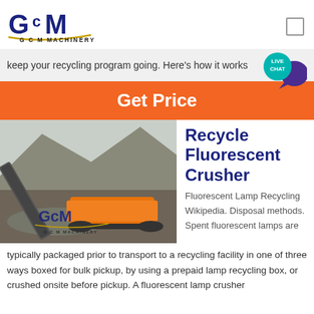[Figure (logo): GCM Machinery logo with blue stylized 'GCM' letters and gold swoosh underline, text 'G C M  MACHINERY' below]
keep your recycling program going. Here's how it works
[Figure (other): Live Chat bubble icon in teal/cyan with speech bubble in dark purple]
Get Price
[Figure (photo): Industrial crusher/conveyor machine at a quarry site with rocky terrain, GCM Machinery logo watermark]
Recycle Fluorescent Crusher
Fluorescent Lamp Recycling Wikipedia. Disposal methods. Spent fluorescent lamps are
typically packaged prior to transport to a recycling facility in one of three ways boxed for bulk pickup, by using a prepaid lamp recycling box, or crushed onsite before pickup. A fluorescent lamp crusher